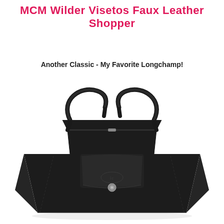MCM Wilder Visetos Faux Leather Shopper
Another Classic - My Favorite Longchamp!
[Figure (photo): A black leather Longchamp tote bag with two curved handles, a flap closure with a silver snap button, and a small embossed logo on the front flap. The bag has a structured trapezoidal shape with side gussets. Photographed on a white background.]